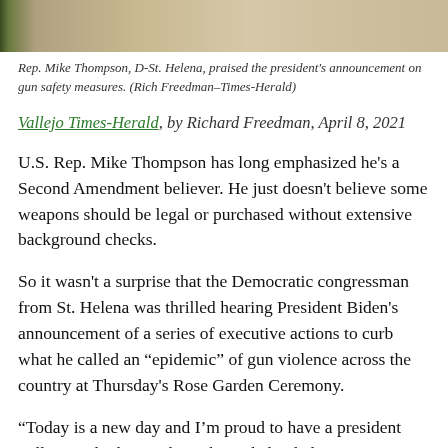[Figure (photo): Partial photo of Rep. Mike Thompson, showing upper body/face, tan/brown tones with green element on left edge]
Rep. Mike Thompson, D-St. Helena, praised the president's announcement on gun safety measures. (Rich Freedman–Times-Herald)
Vallejo Times-Herald, by Richard Freedman, April 8, 2021
U.S. Rep. Mike Thompson has long emphasized he's a Second Amendment believer. He just doesn't believe some weapons should be legal or purchased without extensive background checks.
So it wasn't a surprise that the Democratic congressman from St. Helena was thrilled hearing President Biden's announcement of a series of executive actions to curb what he called an “epidemic” of gun violence across the country at Thursday's Rose Garden Ceremony.
“Today is a new day and I’m proud to have a president willing to do the tough work needed to help prevent gun violence and